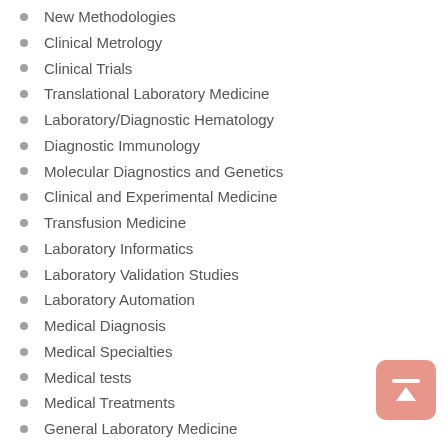New Methodologies
Clinical Metrology
Clinical Trials
Translational Laboratory Medicine
Laboratory/Diagnostic Hematology
Diagnostic Immunology
Molecular Diagnostics and Genetics
Clinical and Experimental Medicine
Transfusion Medicine
Laboratory Informatics
Laboratory Validation Studies
Laboratory Automation
Medical Diagnosis
Medical Specialties
Medical tests
Medical Treatments
General Laboratory Medicine
Adolescent Medicine
Aesthetic Medicine
Forensic Medicine